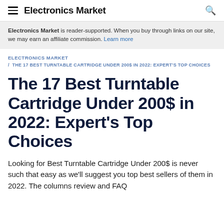Electronics Market
Electronics Market is reader-supported. When you buy through links on our site, we may earn an affiliate commission. Learn more
ELECTRONICS MARKET / THE 17 BEST TURNTABLE CARTRIDGE UNDER 200$ IN 2022: EXPERT'S TOP CHOICES
The 17 Best Turntable Cartridge Under 200$ in 2022: Expert's Top Choices
Looking for Best Turntable Cartridge Under 200$ is never such that easy as we'll suggest you top best sellers of them in 2022. The columns review and FAQ